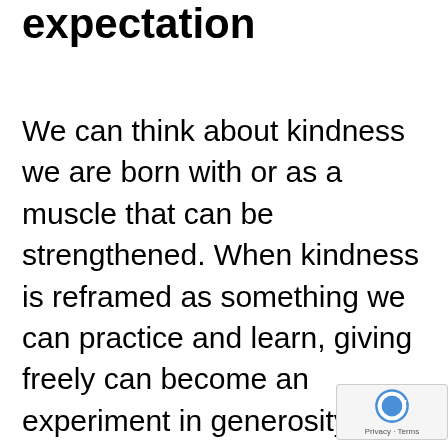expectation
We can think about kindness we are born with or as a muscle that can be strengthened. When kindness is reframed as something we can practice and learn, giving freely can become an experiment in generosity instead of a competition. As Tiyo Tashiro points out, “Kind partners don’t see relationships as a zero sum game. It’s not,